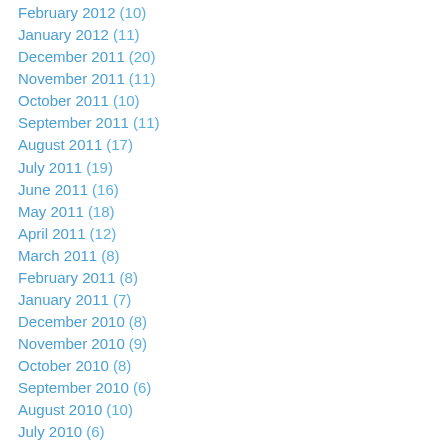February 2012 (10)
January 2012 (11)
December 2011 (20)
November 2011 (11)
October 2011 (10)
September 2011 (11)
August 2011 (17)
July 2011 (19)
June 2011 (16)
May 2011 (18)
April 2011 (12)
March 2011 (8)
February 2011 (8)
January 2011 (7)
December 2010 (8)
November 2010 (9)
October 2010 (8)
September 2010 (6)
August 2010 (10)
July 2010 (6)